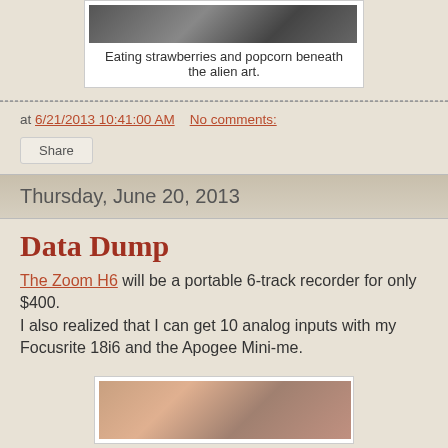[Figure (photo): Photo of person eating strawberries and popcorn beneath alien art]
Eating strawberries and popcorn beneath the alien art.
at 6/21/2013 10:41:00 AM   No comments:
Share
Thursday, June 20, 2013
Data Dump
The Zoom H6 will be a portable 6-track recorder for only $400.
I also realized that I can get 10 analog inputs with my Focusrite 18i6 and the Apogee Mini-me.
[Figure (photo): Close-up photo of fingers/hand]